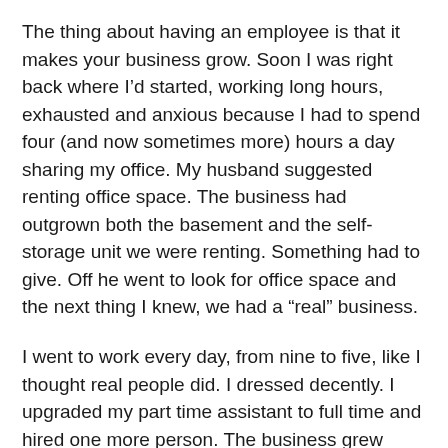The thing about having an employee is that it makes your business grow. Soon I was right back where I’d started, working long hours, exhausted and anxious because I had to spend four (and now sometimes more) hours a day sharing my office. My husband suggested renting office space. The business had outgrown both the basement and the self-storage unit we were renting. Something had to give. Off he went to look for office space and the next thing I knew, we had a “real” business.
I went to work every day, from nine to five, like I thought real people did. I dressed decently. I upgraded my part time assistant to full time and hired one more person. The business grew beyond anything we expected. I longed to be back in the basement alone.
Eventually we moved cross country and in the process of upending our lives, I decided that  having a “real” business was...